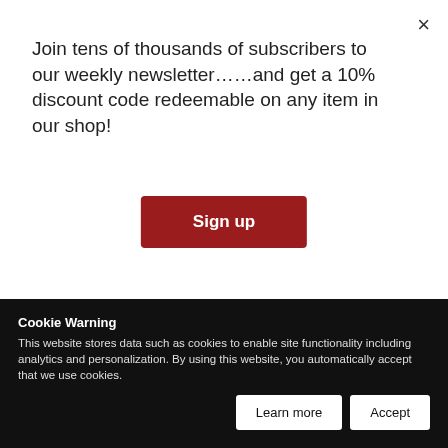Join tens of thousands of subscribers to our weekly newsletter……and get a 10% discount code redeemable on any item in our shop!
Sign up
residence criteria. Colombia has signed DTAs, totally in force, with Czech Republic, Canada, India, Portugal, Korea, Mexico, Switzerland, Chile, Spain, and CAN.
The DTAs listed below are the current treaties not in force signed by Colombia:
In the maritime navigation or air transportation, Colombia has signed DTAs, all in force, regarding income tax and equity tax with Panama, United States of America, Italy, Venezuela, Argentina, Brazil, Chile and Germany. Colombia has also signed DTAs in order to exchange i...
Cookie Warning
This website stores data such as cookies to enable site functionality including analytics and personalization. By using this website, you automatically accept that we use cookies.
Learn more
Accept
preferential tariffs in import and export operations between member countries.